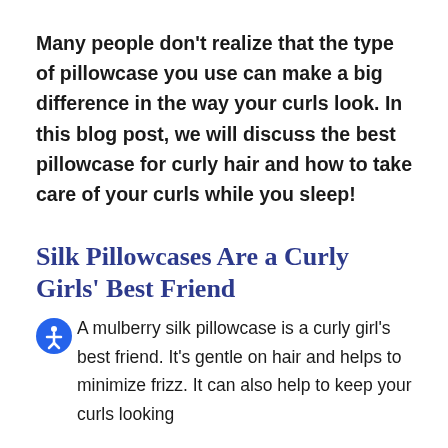Many people don't realize that the type of pillowcase you use can make a big difference in the way your curls look. In this blog post, we will discuss the best pillowcase for curly hair and how to take care of your curls while you sleep!
Silk Pillowcases Are a Curly Girls' Best Friend
A mulberry silk pillowcase is a curly girl's best friend. It's gentle on hair and helps to minimize frizz. It can also help to keep your curls looking